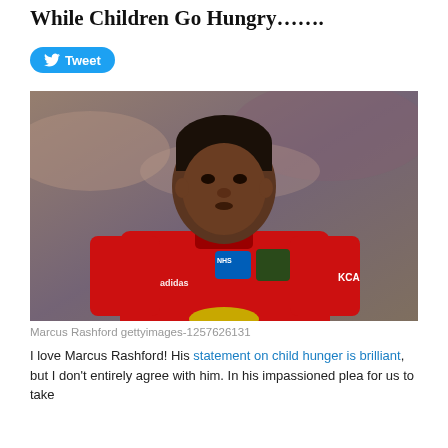While Children Go Hungry…….
[Figure (photo): Marcus Rashford in red Manchester United kit with NHS heart badge and Manchester United badge, looking forward, blurred stadium background]
Marcus Rashford gettyimages-1257626131
I love Marcus Rashford! His statement on child hunger is brilliant, but I don't entirely agree with him. In his impassioned plea for us to take